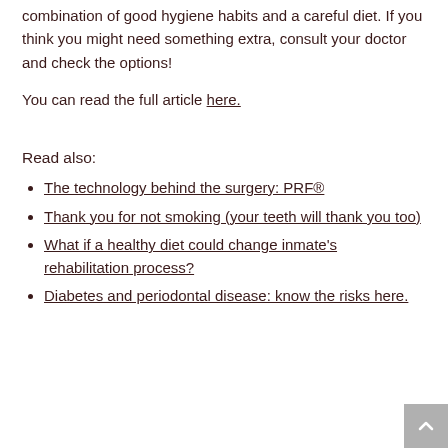combination of good hygiene habits and a careful diet. If you think you might need something extra, consult your doctor and check the options!
You can read the full article here.
Read also:
The technology behind the surgery: PRF®
Thank you for not smoking (your teeth will thank you too)
What if a healthy diet could change inmate's rehabilitation process?
Diabetes and periodontal disease: know the risks here.